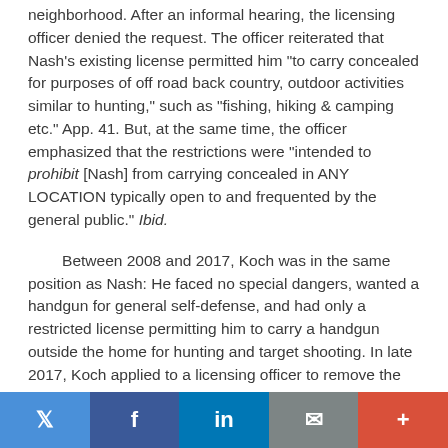neighborhood. After an informal hearing, the licensing officer denied the request. The officer reiterated that Nash's existing license permitted him "to carry concealed for purposes of off road back country, outdoor activities similar to hunting," such as "fishing, hiking & camping etc." App. 41. But, at the same time, the officer emphasized that the restrictions were "intended to prohibit [Nash] from carrying concealed in ANY LOCATION typically open to and frequented by the general public." Ibid.
Between 2008 and 2017, Koch was in the same position as Nash: He faced no special dangers, wanted a handgun for general self-defense, and had only a restricted license permitting him to carry a handgun outside the home for hunting and target shooting. In late 2017, Koch applied to a licensing officer to remove the restrictions on his license, citing his extensive experience in safely handling firearms.
Twitter | Facebook | LinkedIn | Email | More